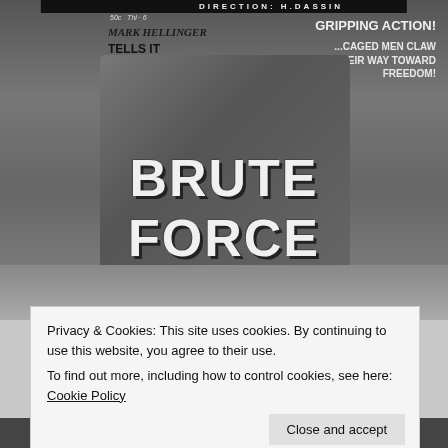[Figure (photo): Vintage black and white movie poster for 'Brute Force' (1947). Text reads: 'Mark Hellinger Tells It The Killers Way!' on the left side, and 'Gripping Action! ...Caged Men Claw Their Way Toward Freedom!' on the right side. Large text 'BRUTE FORCE' dominates the lower half of the poster. Price listed as '50c'. A dramatic scene with figures is depicted in the background.]
Privacy & Cookies: This site uses cookies. By continuing to use this website, you agree to their use.
To find out more, including how to control cookies, see here: Cookie Policy
[Figure (photo): Bottom strip of another movie advertisement showing text 'AIR THRILLS! LAND THRILLS! LOVE THRILLS!']